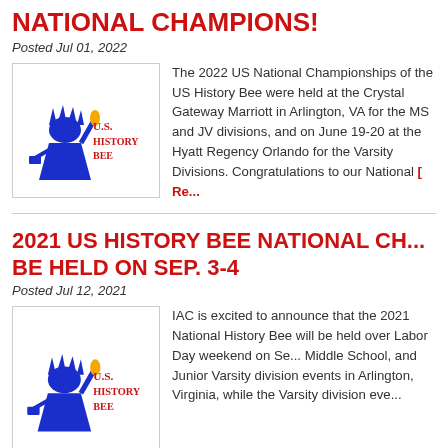NATIONAL CHAMPIONS!
Posted Jul 01, 2022
[Figure (logo): U.S. History Bee logo with Statue of Liberty in blue and red text]
The 2022 US National Championships of the US History Bee were held at the Crystal Gateway Marriott in Arlington, VA for the MS and JV divisions, and on June 19-20 at the Hyatt Regency Orlando for the Varsity Divisions. Congratulations to our National [ Read more ]
2021 US HISTORY BEE NATIONAL CH... WILL BE HELD ON SEP. 3-4
Posted Jul 12, 2021
[Figure (logo): U.S. History Bee logo with Statue of Liberty in blue and red text]
IAC is excited to announce that the 2021 National History Bee will be held over Labor Day weekend on Se... Middle School, and Junior Varsity division events in Arlington, Virginia, while the Varsity division eve...